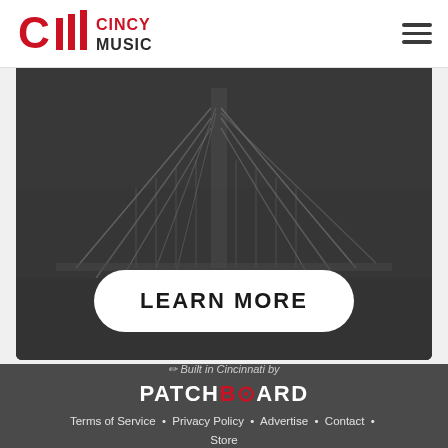Cincy Music
[Figure (photo): Dark photograph of a suspension bridge (likely the John A. Roebling Suspension Bridge in Cincinnati) with cable structure visible, overlaid on dark grey background with a white 'LEARN MORE' button at the bottom]
Built in Cincinnati by PATCHBOARD · Terms of Service · Privacy Policy · Advertise · Contact · Store